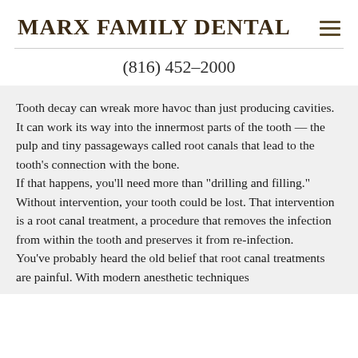MARX FAMILY DENTAL
(816) 452-2000
Tooth decay can wreak more havoc than just producing cavities. It can work its way into the innermost parts of the tooth — the pulp and tiny passageways called root canals that lead to the tooth's connection with the bone.
If that happens, you'll need more than “drilling and filling.” Without intervention, your tooth could be lost. That intervention is a root canal treatment, a procedure that removes the infection from within the tooth and preserves it from re-infection.
You’ve probably heard the old belief that root canal treatments are painful. With modern anesthetic techniques